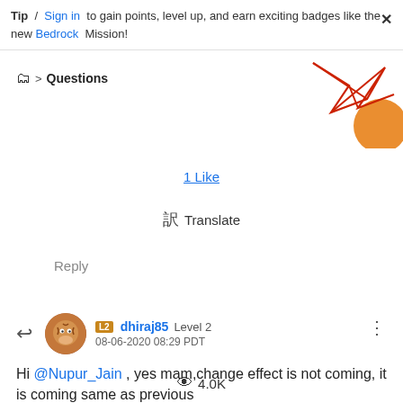Tip / Sign in to gain points, level up, and earn exciting badges like the new Bedrock Mission!
Questions
1 Like
Translate
Reply
dhiraj85 Level 2 08-06-2020 08:29 PDT
Hi @Nupur_Jain , yes mam,change effect is not coming, it is coming same as previous
4.0K